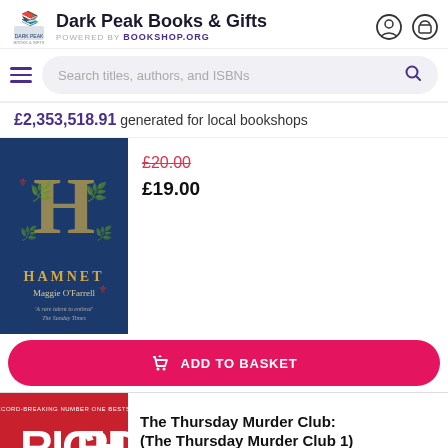Dark Peak Books & Gifts POWERED BY Bookshop.org
Search titles, authors, and ISBNs
£2,353,518.91 generated for local bookshops
[Figure (photo): Book cover of Hamnet by Maggie O'Farrell — dark blue cover with gold decorative 'H' lettering and 'HAMNET Maggie O'Farrell' text]
£20.00 (strikethrough) £19.00
ADD TO BASKET
[Figure (photo): Partial book cover of The Thursday Murder Club (The Thursday Murder Club 1) with red background and partial text visible]
The Thursday Murder Club: (The Thursday Murder Club 1)